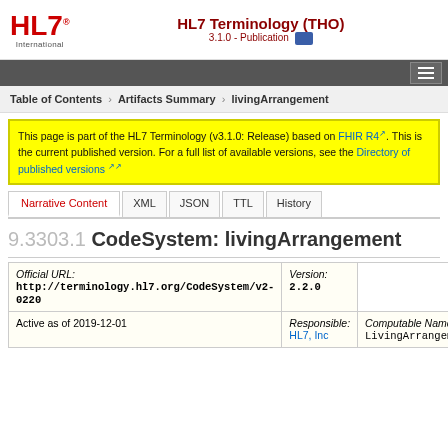HL7 Terminology (THO) 3.1.0 - Publication
Table of Contents > Artifacts Summary > livingArrangement
This page is part of the HL7 Terminology (v3.1.0: Release) based on FHIR R4. This is the current published version. For a full list of available versions, see the Directory of published versions
9.3303.1 CodeSystem: livingArrangement
| Official URL | Version |
| --- | --- |
| http://terminology.hl7.org/CodeSystem/v2-0220 | 2.2.0 |
| Active as of 2019-12-01 | Responsible: HL7, Inc | Computable Name: LivingArrangement |